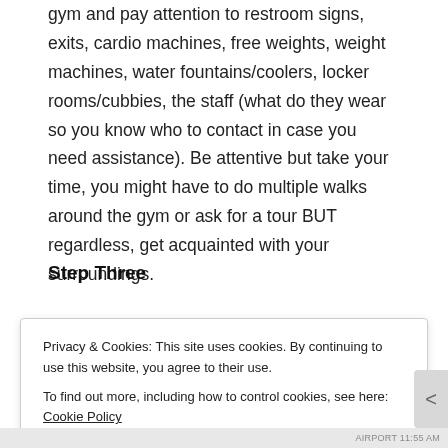gym and pay attention to restroom signs, exits, cardio machines, free weights, weight machines, water fountains/coolers, locker rooms/cubbies, the staff (what do they wear so you know who to contact in case you need assistance). Be attentive but take your time, you might have to do multiple walks around the gym or ask for a tour BUT regardless, get acquainted with your surroundings.
Step Three
Privacy & Cookies: This site uses cookies. By continuing to use this website, you agree to their use.
To find out more, including how to control cookies, see here: Cookie Policy
Close and accept
AIRPORT 11:55 AM